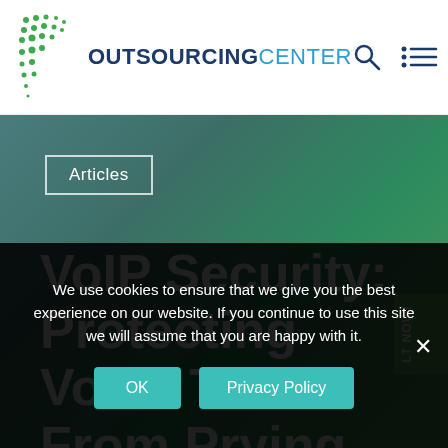OUTSOURCING CENTER
Articles
VoIP Security: Protecting Voice Traffic From Prying Ears
We use cookies to ensure that we give you the best experience on our website. If you continue to use this site we will assume that you are happy with it.
OK
Privacy Policy